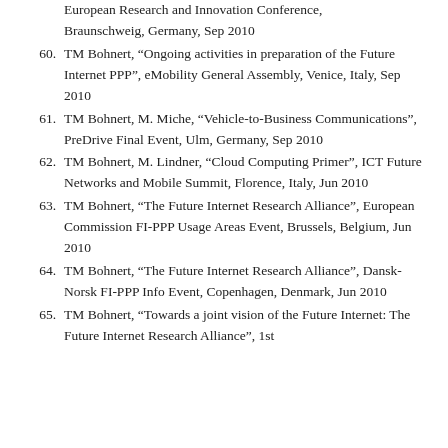(partial) European Research and Innovation Conference, Braunschweig, Germany, Sep 2010
60. TM Bohnert, “Ongoing activities in preparation of the Future Internet PPP”, eMobility General Assembly, Venice, Italy, Sep 2010
61. TM Bohnert, M. Miche, “Vehicle-to-Business Communications”, PreDrive Final Event, Ulm, Germany, Sep 2010
62. TM Bohnert, M. Lindner, “Cloud Computing Primer”, ICT Future Networks and Mobile Summit, Florence, Italy, Jun 2010
63. TM Bohnert, “The Future Internet Research Alliance”, European Commission FI-PPP Usage Areas Event, Brussels, Belgium, Jun 2010
64. TM Bohnert, “The Future Internet Research Alliance”, Dansk-Norsk FI-PPP Info Event, Copenhagen, Denmark, Jun 2010
65. TM Bohnert, “Towards a joint vision of the Future Internet: The Future Internet Research Alliance”, 1st